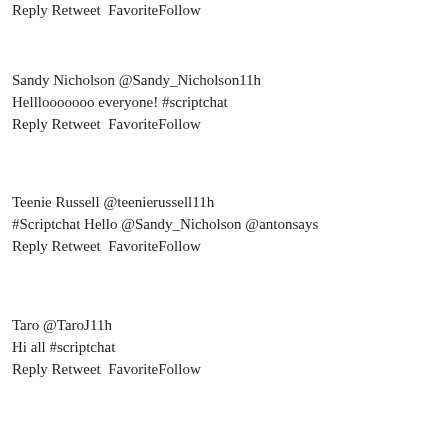Reply Retweet  FavoriteFollow
Sandy Nicholson @Sandy_Nicholson11h
Helllooooooo everyone! #scriptchat
Reply Retweet  FavoriteFollow
Teenie Russell @teenierussell11h
#Scriptchat Hello @Sandy_Nicholson @antonsays
Reply Retweet  FavoriteFollow
Taro @TaroJ11h
Hi all #scriptchat
Reply Retweet  FavoriteFollow